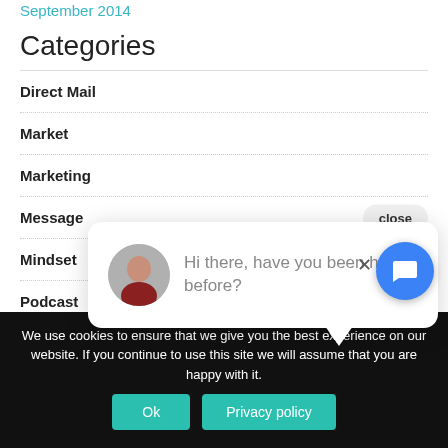September 2014
Categories
Direct Mail
Market
Marketing
Message
Mindset
Podcast
[Figure (screenshot): Chat popup with avatar photo of a woman, text: Hi there, have you been here before? with a close button]
We use cookies to ensure that we give you the best experience on our website. If you continue to use this site we will assume that you are happy with it.
Ok
Privacy policy